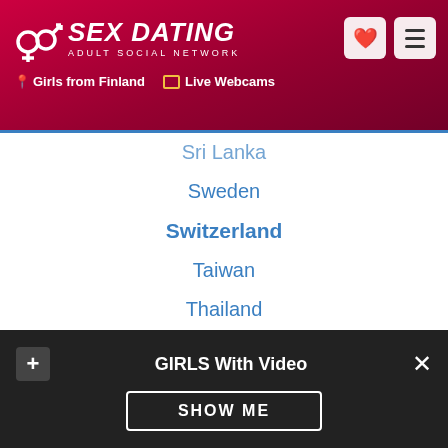[Figure (screenshot): Sex Dating Adult Social Network website header with logo, heart icon, menu button, Girls from Finland and Live Webcams navigation links]
Sri Lanka
Sweden
Switzerland
Taiwan
Thailand
Turkey
United Arab Emirates
Uruguay
USA
Vietnam
Adult Dating
GIRLS With Video
SHOW ME